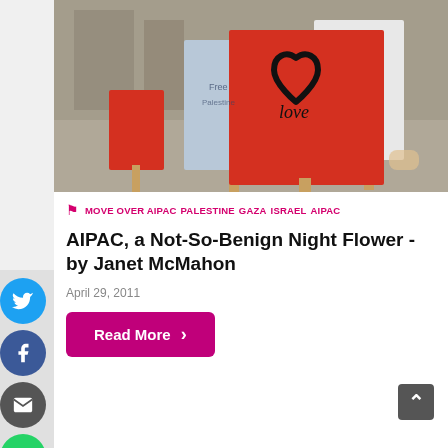[Figure (photo): Protest signs including a red sign with a heart drawn in black marker and the word 'love', and a blue sign with writing, held up at an outdoor protest.]
MOVE OVER AIPAC  PALESTINE  GAZA  ISRAEL  AIPAC
AIPAC, a Not-So-Benign Night Flower - by Janet McMahon
April 29, 2011
Read More